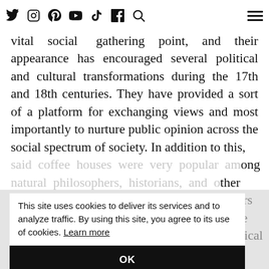[Social media icons: Twitter, Instagram, Pinterest, YouTube, TikTok, Facebook, Search] [Hamburger menu]
Throughout history, coffee houses have been a vital social gathering point, and their appearance has encouraged several political and cultural transformations during the 17th and 18th centuries. They have provided a sort of a platform for exchanging views and most importantly to nurture public opinion across the social spectrum of society. In addition to this, said coffee houses were very popular among natural philosophers, historians, and other people alike as places for like-minded scholars to read, learn from each other, and debate various topics. Much like their historical impact, coffee houses continue to enjoy the same reputation as the place where people
This site uses cookies to deliver its services and to analyze traffic. By using this site, you agree to its use of cookies. Learn more
OK